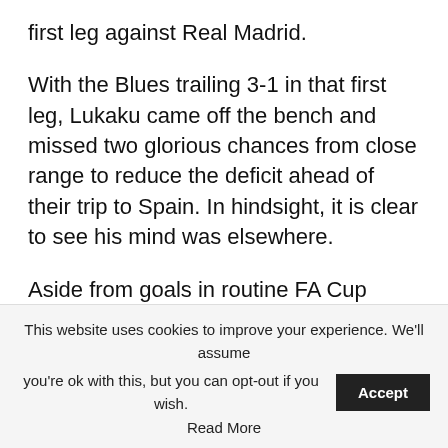first leg against Real Madrid.
With the Blues trailing 3-1 in that first leg, Lukaku came off the bench and missed two glorious chances from close range to reduce the deficit ahead of their trip to Spain. In hindsight, it is clear to see his mind was elsewhere.
Aside from goals in routine FA Cup victories over Luton and Middlesbrough, as well as against inferior opposition at the Club World Cup, Lukaku had not produced a meaningful strike since December as we reached the final month of the
This website uses cookies to improve your experience. We'll assume you're ok with this, but you can opt-out if you wish. Accept Read More